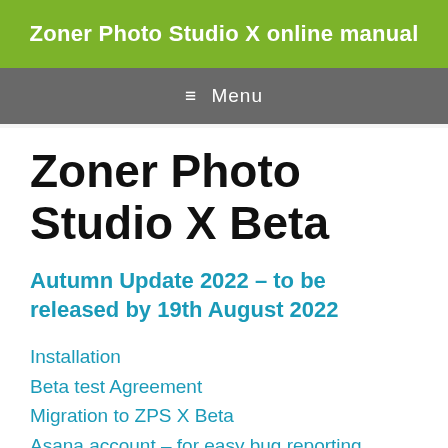Zoner Photo Studio X online manual
≡  Menu
Zoner Photo Studio X Beta
Autumn Update 2022 – to be released by 19th August 2022
Installation
Beta test Agreement
Migration to ZPS X Beta
Asana account – for easy bug reporting
How to report a bug?